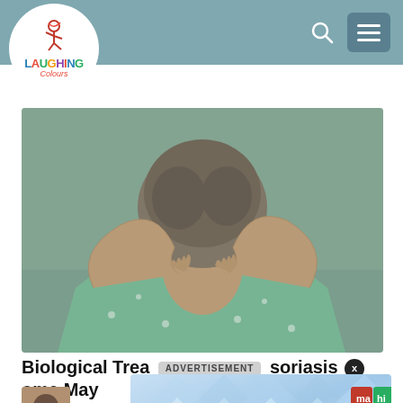Laughing Colours
[Figure (photo): Elderly woman in green floral top seen from behind, scratching the back of her neck with both hands. Blurred green background.]
Biological Trea ADVERTISEMENT soriasis (x)ome May ... [overlaid by ad]
Psoriasi...
[Figure (screenshot): Advertisement overlay with geometric blue diamond pattern background showing text 'Sign up today!' and a four-cell logo grid with ma/hi/me/ta in red, green, red, blue squares.]